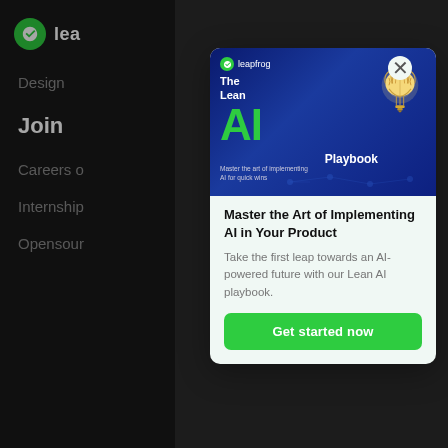[Figure (screenshot): Dark website background with left navigation panel showing leapfrog logo, Design, Join, Careers, Internship, Opensource menu items]
[Figure (illustration): Modal popup card showing the Lean AI Playbook book cover with blue background, green AI text, brain/lightbulb icon, leapfrog logo, and tagline 'Master the art of implementing AI for quick wins']
Master the Art of Implementing AI in Your Product
Take the first leap towards an AI-powered future with our Lean AI playbook.
Get started now